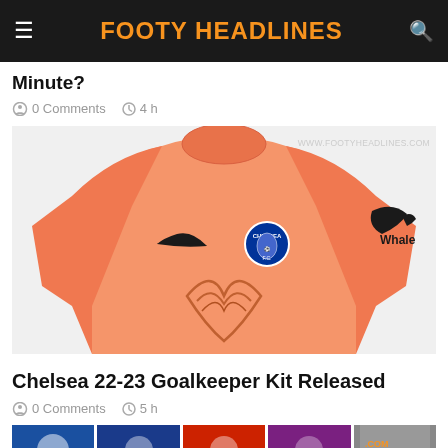FOOTY HEADLINES
Minute?
0 Comments   4 h
[Figure (photo): Chelsea 22-23 orange goalkeeper jersey with Nike swoosh, Chelsea badge, and Whale sponsor logo on sleeve]
Chelsea 22-23 Goalkeeper Kit Released
0 Comments   5 h
[Figure (photo): Row of football kit thumbnail images at the bottom]